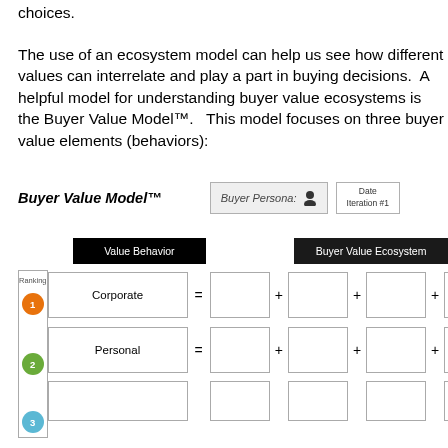choices.
The use of an ecosystem model can help us see how different values can interrelate and play a part in buying decisions.  A helpful model for understanding buyer value ecosystems is the Buyer Value Model™.   This model focuses on three buyer value elements (behaviors):
[Figure (infographic): Buyer Value Model™ template diagram showing header row with 'Value Behavior' and 'Buyer Value Ecosystem' black boxes, and rows for Corporate, Personal, and a third unlabeled row, each with equation boxes (= box + box + box + box). A ranking column on the left contains numbered colored dots (1 orange, 2 green, 3 blue).]